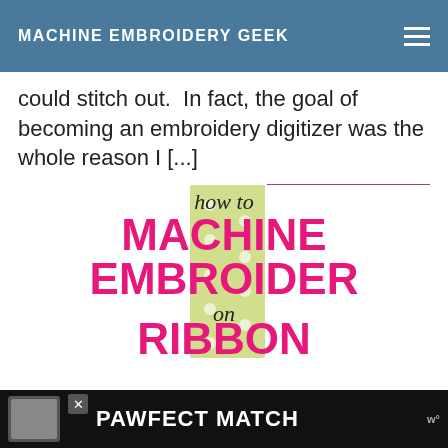MACHINE EMBROIDERY GEEK
could stitch out.  In fact, the goal of becoming an embroidery digitizer was the whole reason I [...]
READ MORE
[Figure (illustration): Promotional graphic for 'how to MACHINE EMBROIDER on RIBBON' article, featuring pink bold text and a green polka-dot ribbon in the background]
PAWFECT MATCH